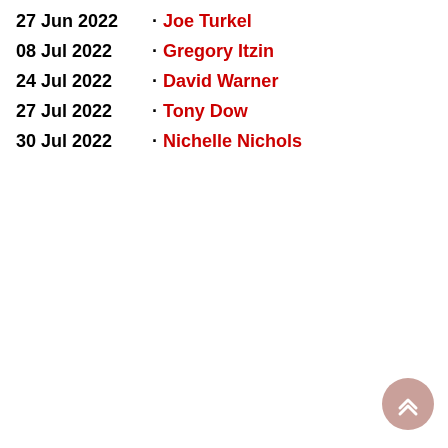27 Jun 2022 · Joe Turkel
08 Jul 2022 · Gregory Itzin
24 Jul 2022 · David Warner
27 Jul 2022 · Tony Dow
30 Jul 2022 · Nichelle Nichols
[Figure (other): Back to top button — circular pinkish-rose button with double upward chevron arrow icon]